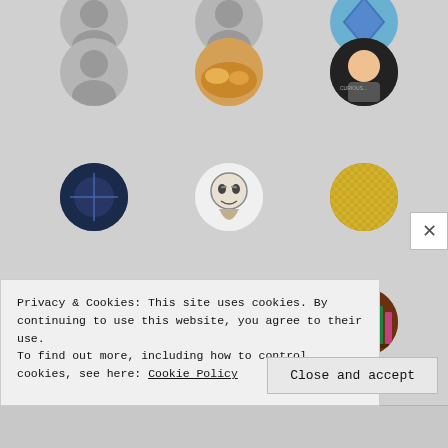[Figure (screenshot): Grid of circular profile avatars/photos arranged in rows, showing user profile pictures from a social or blog platform. Some are default grey silhouette placeholders, others show real photos of people, food, illustrations, and logos.]
Privacy & Cookies: This site uses cookies. By continuing to use this website, you agree to their use.
To find out more, including how to control cookies, see here: Cookie Policy
Close and accept